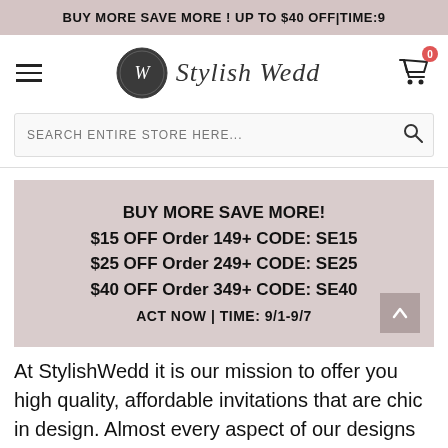BUY MORE SAVE MORE ! UP TO $40 OFF|TIME:9
[Figure (logo): Stylish Wedd logo — circular dark badge with W monogram and italic script text 'Stylish Wedd']
SEARCH ENTIRE STORE HERE...
BUY MORE SAVE MORE!
$15 OFF Order 149+ CODE: SE15
$25 OFF Order 249+ CODE: SE25
$40 OFF Order 349+ CODE: SE40
ACT NOW | TIME: 9/1-9/7
At StylishWedd it is our mission to offer you high quality, affordable invitations that are chic in design. Almost every aspect of our designs can be customized to suit your needs and look absolutely for a...